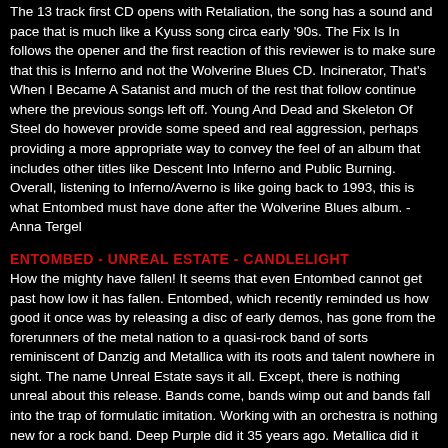The 13 track first CD opens with Retaliation, the song has a sound and pace that is much like a Kyuss song circa early '90s. The Fix Is In follows the opener and the first reaction of this reviewer is to make sure that this is Inferno and not the Wolverine Blues CD. Incinerator, That's When I Became A Satanist and much of the rest that follow continue where the previous songs left off. Young And Dead and Skeleton Of Steel do however provide some speed and real aggression, perhaps providing a more appropriate way to convey the feel of an album that includes other titles like Descent Into Inferno and Public Burning. Overall, listening to Inferno/Averno is like going back to 1993, this is what Entombed must have done after the Wolverine Blues album. - Anna Tergel
ENTOMBED - UNREAL ESTATE - CANDLELIGHT
How the mighty have fallen! It seems that even Entombed cannot get past how low it has fallen. Entombed, which recently reminded us how good it once was by releasing a disc of early demos, has gone from the forerunners of the metal nation to a quasi-rock band of sorts reminiscent of Danzig and Metallica with its roots and talent nowhere in sight. The name Unreal Estate says it all. Except, there is nothing unreal about this release. Bands come, bands wimp out and bands fall into the trap of formulatic imitation. Working with an orchestra is nothing new for a rock band. Deep Purple did it 35 years ago. Metallica did it and claimed to be original. Scorpions did it and realized what a big seller it could be - ha! Rage, Therion, Yngwie Malmsteen, etc etc have been there. Funny thing is, Unreal Estate is the recording of a performance by Entombed at Stockholm's Royal Opera House with the band surrounded by dancers with music rearranged to suit the choreography. In other words, there is little here to listen to or look for in terms of novelty or amazement. At least a video of the band's performance might yield some surprises, although the